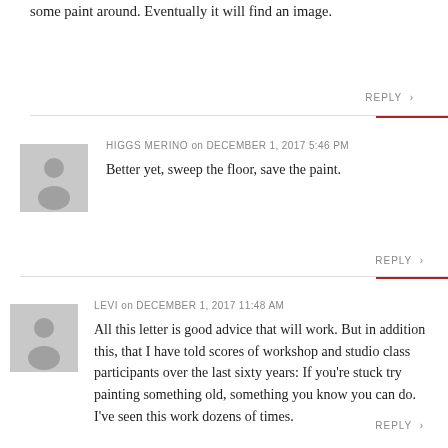some paint around. Eventually it will find an image.
REPLY >
HIGGS MERINO on DECEMBER 1, 2017 5:46 PM
Better yet, sweep the floor, save the paint.
REPLY >
LEVI on DECEMBER 1, 2017 11:48 AM
All this letter is good advice that will work. But in addition this, that I have told scores of workshop and studio class participants over the last sixty years: If you're stuck try painting something old, something you know you can do. I've seen this work dozens of times.
REPLY >